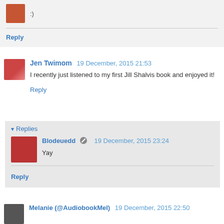:)
Reply
Jen Twimom  19 December, 2015 21:53
I recently just listened to my first Jill Shalvis book and enjoyed it!
Reply
Replies
Blodeuedd  19 December, 2015 23:24
Yay
Reply
Melanie (@AudiobookMel)  19 December, 2015 22:50